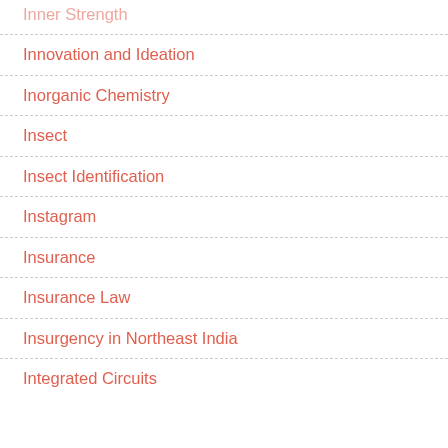Inner Strength
Innovation and Ideation
Inorganic Chemistry
Insect
Insect Identification
Instagram
Insurance
Insurance Law
Insurgency in Northeast India
Integrated Circuits